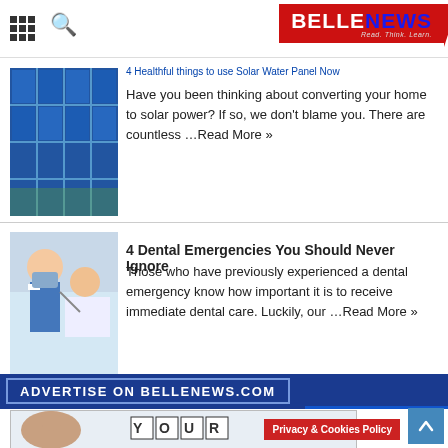BELLENEWS — Read. Think. Learn.
[Figure (screenshot): Solar panels photo thumbnail]
Have you been thinking about converting your home to solar power? If so, we don't blame you. There are countless …Read More »
[Figure (photo): Dentist examining patient photo thumbnail]
4 Dental Emergencies You Should Never Ignore
Those who have previously experienced a dental emergency know how important it is to receive immediate dental care. Luckily, our …Read More »
[Figure (infographic): ADVERTISE ON BELLENEWS.COM banner]
[Figure (photo): Woman with YOUR text blocks advertisement image]
Privacy & Cookies Policy